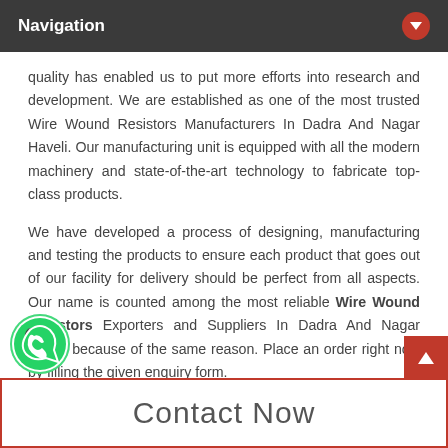Navigation
quality has enabled us to put more efforts into research and development. We are established as one of the most trusted Wire Wound Resistors Manufacturers In Dadra And Nagar Haveli. Our manufacturing unit is equipped with all the modern machinery and state-of-the-art technology to fabricate top-class products.
We have developed a process of designing, manufacturing and testing the products to ensure each product that goes out of our facility for delivery should be perfect from all aspects. Our name is counted among the most reliable Wire Wound Resistors Exporters and Suppliers In Dadra And Nagar Haveli because of the same reason. Place an order right now by filling the given enquiry form.
Contact Now